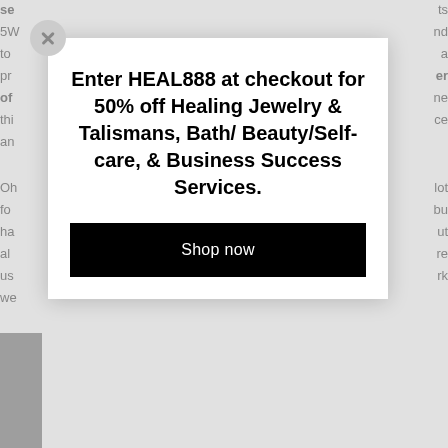se...ts 5W...nd to...a pr...er of...ne thi...ce an... Oh...lot fo...bu ha...ut al...re us...rk we...
[Figure (infographic): A promotional modal overlay on a webpage. The modal contains bold text reading 'Enter HEAL888 at checkout for 50% off Healing Jewelry & Talismans, Bath/ Beauty/Self-care, & Business Success Services.' with a black 'Shop now' button. A close (X) button appears in the top-left corner of the modal. The background shows partially visible webpage text dimmed by an overlay.]